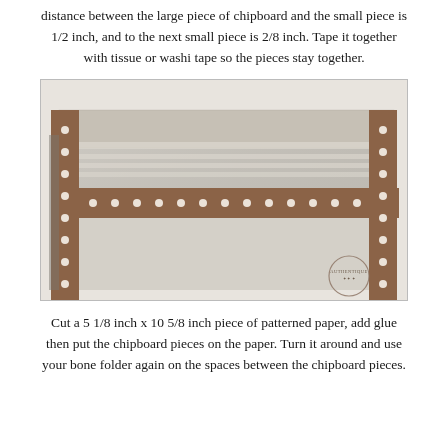distance between the large piece of chipboard and the small piece is 1/2 inch, and to the next small piece is 2/8 inch. Tape it together with tissue or washi tape so the pieces stay together.
[Figure (photo): Photo of chipboard pieces taped together with washi tape featuring a brown polka-dot pattern, laid flat showing the spacing between pieces. An 'Authentique' stamp/logo is visible in the lower right corner.]
Cut a 5 1/8 inch x 10 5/8 inch piece of patterned paper, add glue then put the chipboard pieces on the paper. Turn it around and use your bone folder again on the spaces between the chipboard pieces.